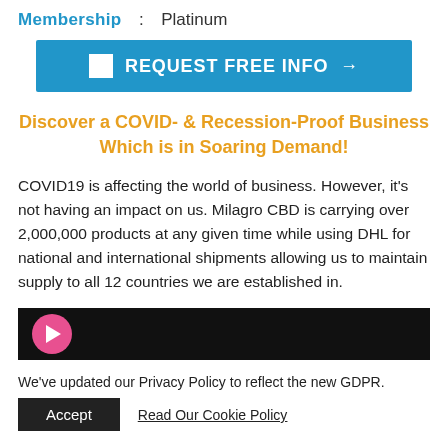Membership : Platinum
[Figure (other): Blue button bar with checkbox icon and text REQUEST FREE INFO →]
Discover a COVID- & Recession-Proof Business Which is in Soaring Demand!
COVID19 is affecting the world of business. However, it's not having an impact on us. Milagro CBD is carrying over 2,000,000 products at any given time while using DHL for national and international shipments allowing us to maintain supply to all 12 countries we are established in.
[Figure (screenshot): Video player bar with black background and pink play button]
We've updated our Privacy Policy to reflect the new GDPR.
Accept   Read Our Cookie Policy